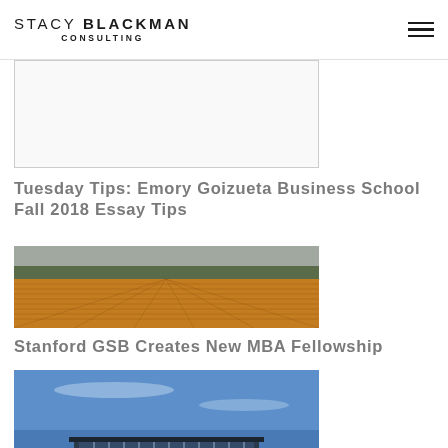STACY BLACKMAN CONSULTING
[Figure (photo): Blank/placeholder image with white interior and thin border]
Tuesday Tips: Emory Goizueta Business School Fall 2018 Essay Tips
[Figure (photo): Aerial photograph of golden-brown agricultural field with rows of crops, trees in background, overcast sky]
Stanford GSB Creates New MBA Fellowship
[Figure (photo): Modern building architecture photographed from below against blue sky, glass and steel facade]